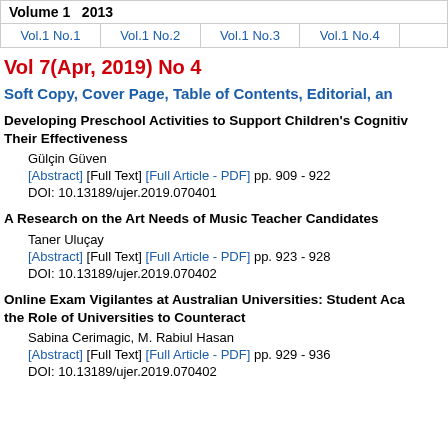| Volume 1  2013 | Vol.1 No.1 | Vol.1 No.2 | Vol.1 No.3 | Vol.1 No.4 |
| --- | --- | --- | --- | --- |
Vol 7(Apr, 2019) No 4
Soft Copy, Cover Page, Table of Contents, Editorial, an
Developing Preschool Activities to Support Children's Cognitive... Their Effectiveness
Gülçin Güven
[Abstract] [Full Text] [Full Article - PDF] pp. 909 - 922
DOI: 10.13189/ujer.2019.070401
A Research on the Art Needs of Music Teacher Candidates
Taner Uluçay
[Abstract] [Full Text] [Full Article - PDF] pp. 923 - 928
DOI: 10.13189/ujer.2019.070402
Online Exam Vigilantes at Australian Universities: Student Aca... the Role of Universities to Counteract
Sabina Cerimagic, M. Rabiul Hasan
[Abstract] [Full Text] [Full Article - PDF] pp. 929 - 936
DOI: 10.13189/ujer.2019.070403